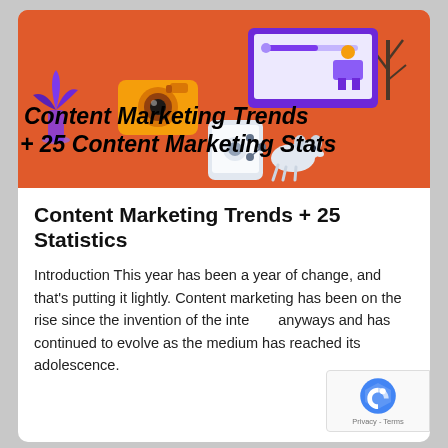[Figure (illustration): Orange/red background illustration showing a movie camera, smartphone, tablet, person working on laptop, plant, dog, and social media icons. Overlaid bold italic text reads 'Content Marketing Trends + 25 Content Marketing Stats']
Content Marketing Trends + 25 Statistics
Introduction This year has been a year of change, and that's putting it lightly. Content marketing has been on the rise since the invention of the internet anyways and has continued to evolve as the medium has reached its adolescence.